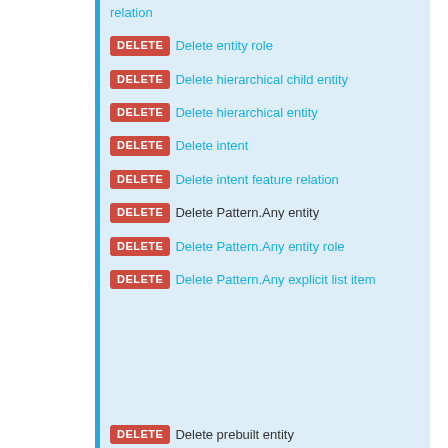relation
DELETE Delete entity role
DELETE Delete hierarchical child entity
DELETE Delete hierarchical entity
DELETE Delete intent
DELETE Delete intent feature relation
DELETE Delete Pattern.Any entity
DELETE Delete Pattern.Any entity role
DELETE Delete Pattern.Any explicit list item
DELETE Delete prebuilt entity